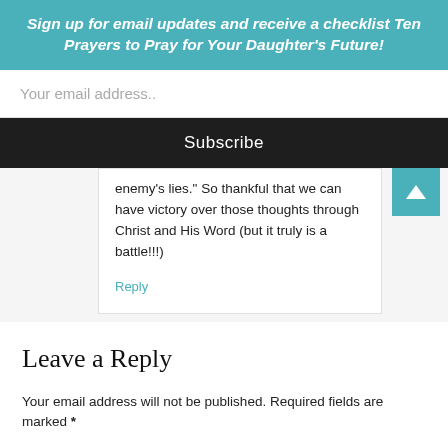Sign up for email updates and receive a checklist Ten Prayers to Pray for Your Daughter's Future!
Your email address..
Subscribe
enemy’s lies.” So thankful that we can have victory over those thoughts through Christ and His Word (but it truly is a battle!!!)
Reply
Leave a Reply
Your email address will not be published. Required fields are marked *